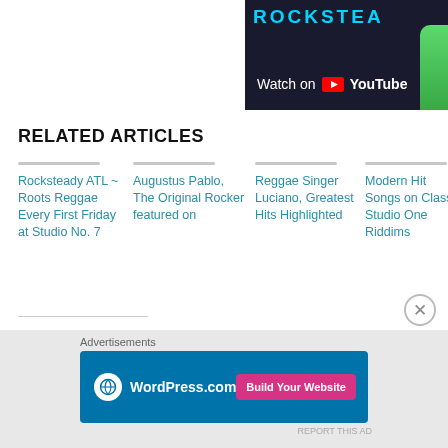[Figure (screenshot): YouTube video thumbnail with 'Watch on YouTube' overlay and cyan/teal text at top reading 'ROCKSTEAD...' with a green figure on the right]
RELATED ARTICLES
Rocksteady ATL ~ Roots Reggae Every First Friday at Studio No. 7
Augustus Pablo, The Original Rocker featured on
Reggae Singer Luciano, Greatest Hits Highlighted
Modern Hit Songs on Classic Studio One Riddims
Leg... Bes... Ma... Ann... Edi...
SHARE THIS:
Tweet  Share  WhatsApp  More
Loading...
Advertisements
[Figure (screenshot): WordPress.com advertisement banner with dark blue background, WordPress logo on left and 'Build Your Website' pink button on right]